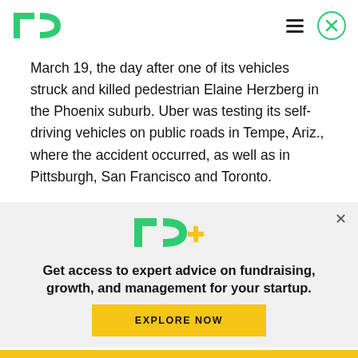TechCrunch logo, hamburger menu, close button
March 19, the day after one of its vehicles struck and killed pedestrian Elaine Herzberg in the Phoenix suburb. Uber was testing its self-driving vehicles on public roads in Tempe, Ariz., where the accident occurred, as well as in Pittsburgh, San Francisco and Toronto.
[Figure (logo): TechCrunch TC+ logo with green TC letters and yellow plus sign]
Get access to expert advice on fundraising, growth, and management for your startup.
EXPLORE NOW